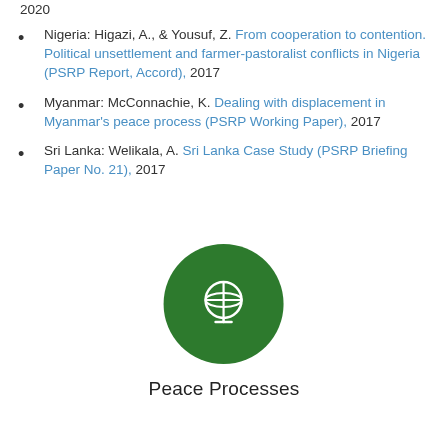Nigeria: Higazi, A., & Yousuf, Z. From cooperation to contention. Political unsettlement and farmer-pastoralist conflicts in Nigeria (PSRP Report, Accord), 2017
Myanmar: McConnachie, K. Dealing with displacement in Myanmar's peace process (PSRP Working Paper), 2017
Sri Lanka: Welikala, A. Sri Lanka Case Study (PSRP Briefing Paper No. 21), 2017
[Figure (illustration): Green circle icon with a globe/world symbol in white, centered on the page lower half]
Peace Processes